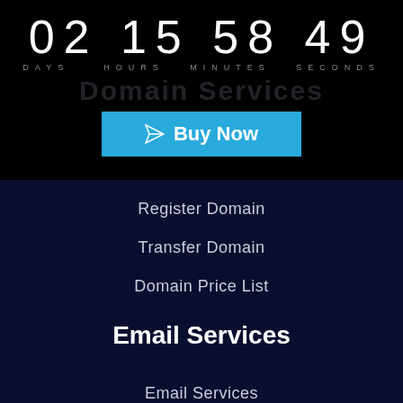02 15 58 49
DAYS   HOURS  MINUTES  SECONDS
Domain Services
Buy Now
Register Domain
Transfer Domain
Domain Price List
Email Services
Email Services
Google G Suite
SpamExperts Mail Services